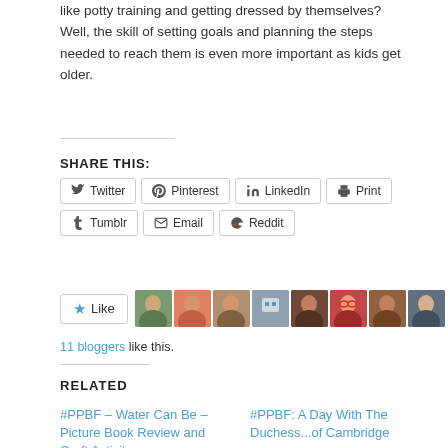like potty training and getting dressed by themselves? Well, the skill of setting goals and planning the steps needed to reach them is even more important as kids get older.
SHARE THIS:
[Figure (other): Social share buttons: Twitter, Pinterest, LinkedIn, Print, Tumblr, Email, Reddit]
[Figure (other): Like button with star icon and 8 blogger avatar thumbnails]
11 bloggers like this.
RELATED
#PPBF – Water Can Be – Picture Book Review and Craft Activity
April 3, 2014
In "Perfect Picture Book..."
#PPBF: A Day With The Duchess...of Cambridge
March 28, 2014
In "A Day with the..."